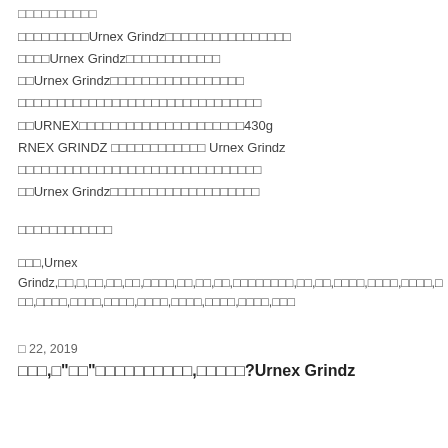□□□□□□□□□□
□□□□□□□□□Urnex Grindz□□□□□□□□□□□□□□□□
□□□□Urnex Grindz□□□□□□□□□□□□
□□Urnex Grindz□□□□□□□□□□□□□□□□□
□□□□□□□□□□□□□□□□□□□□□□□□□□□□□□□
□□URNEX□□□□□□□□□□□□□□□□□□□□□430g
RNEX GRINDZ □□□□□□□□□□□□ Urnex Grindz
□□□□□□□□□□□□□□□□□□□□□□□□□□□□□□□
□□Urnex Grindz□□□□□□□□□□□□□□□□□□□
□□□□□□□□□□□□
□□□,Urnex Grindz,□□,□,□□,□□,□□,□□□□,□□,□□,□□,□□□□□□□□,□□,□□,□□□□,□□□□,□□□□,□□□,□□□□,□□□□,□□□□,□□□□,□□□□,□□□□,□□□□,□□□
□ 22, 2019
□□□,□"□□"□□□□□□□□□□,□□□□□?Urnex Grindz